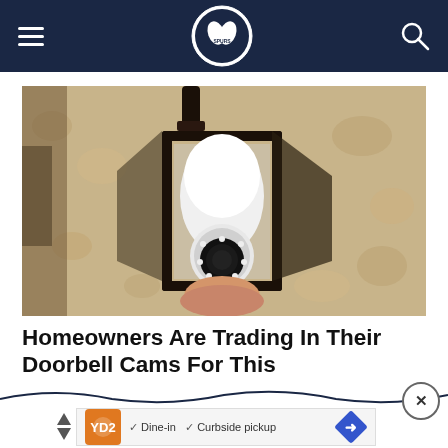The Spurs Web - navigation bar with hamburger menu, logo, and search icon
[Figure (photo): A hand installing a white bulb-shaped security camera into a black iron outdoor wall lantern fixture mounted on a textured stucco wall]
Homeowners Are Trading In Their Doorbell Cams For This
[Figure (other): Advertisement banner with orange restaurant logo, checkmarks for Dine-in and Curbside pickup, and a blue diamond-shaped arrow button. Ad triangles visible on left side.]